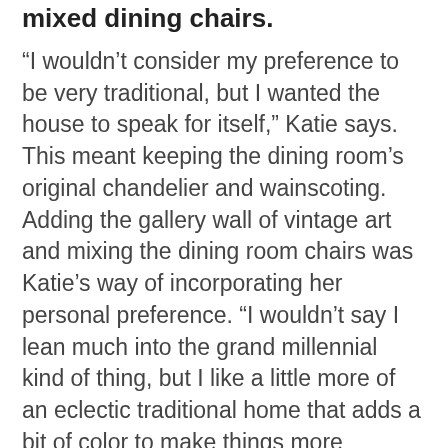mixed dining chairs.
“I wouldn’t consider my preference to be very traditional, but I wanted the house to speak for itself,” Katie says. This meant keeping the dining room’s original chandelier and wainscoting. Adding the gallery wall of vintage art and mixing the dining room chairs was Katie’s way of incorporating her personal preference. “I wouldn’t say I lean much into the grand millennial kind of thing, but I like a little more of an eclectic traditional home that adds a bit of color to make things more interesting,” she says. This is especially inspired by her grandparents who collected antiques, and her great-grandfather, who was a Virginia-based